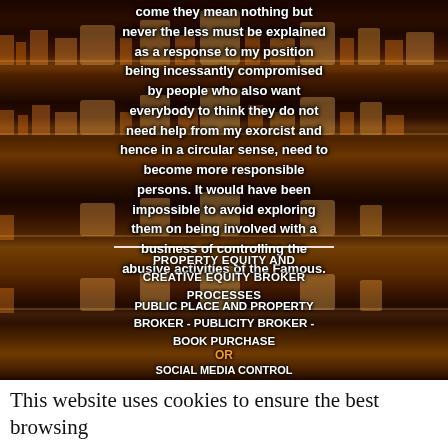[Figure (photo): London city skyline at night with dramatic orange and purple sky reflected in the Thames river, repeated in multiple horizontal strips. White bold text is overlaid on the image.]
come they mean nothing but never the less must be explained as a response to my position being incessantly compromised by people who also want everybody to think they do not need help from my exorcist and hence in a circular sense, need to become more responsible persons. It would have been impossible to avoid exploring them on being involved with a business of controlling the abusive activities of the Famous.
PROPERTY EQUITY AND CREATIVE EQUITY BROKER PROCESSES
PUBLIC PLACE AND PROPERTY BROKER - PUBLICITY BROKER - BOOK PURCHASE
OR
SOCIAL MEDIA CONTROL BROKER PROCESSES AND ADMINISTRATION - BOOK PURCHASE
This website uses cookies to ensure the best browsing